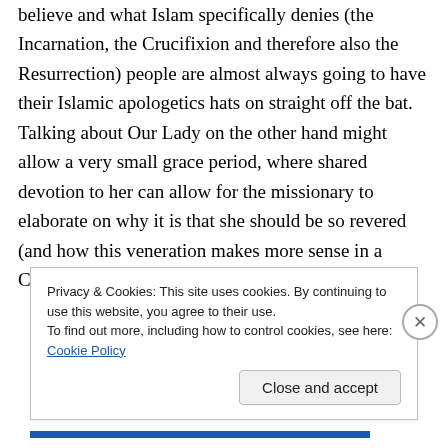believe and what Islam specifically denies (the Incarnation, the Crucifixion and therefore also the Resurrection) people are almost always going to have their Islamic apologetics hats on straight off the bat. Talking about Our Lady on the other hand might allow a very small grace period, where shared devotion to her can allow for the missionary to elaborate on why it is that she should be so revered (and how this veneration makes more sense in a Christian
Privacy & Cookies: This site uses cookies. By continuing to use this website, you agree to their use.
To find out more, including how to control cookies, see here: Cookie Policy